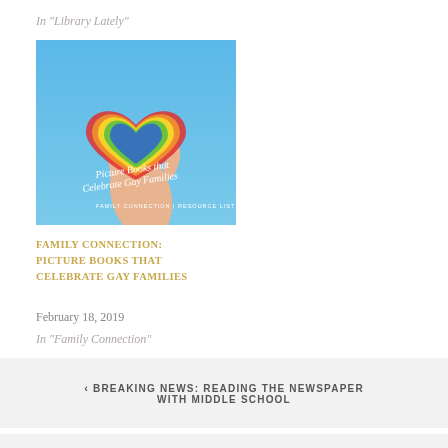In "Library Lately"
[Figure (illustration): Book cover image showing a hand holding a rainbow chalk heart with text 'Picture Books that Celebrate Gay Families' and subtitle 'FAMILY CONNECTION | RESOURCE LIST' on a blue sky background]
FAMILY CONNECTION: PICTURE BOOKS THAT CELEBRATE GAY FAMILIES
February 18, 2019
In "Family Connection"
‹ BREAKING NEWS: READING THE NEWSPAPER WITH MIDDLE SCHOOL
LIBRARY INTERN TRAINING ›